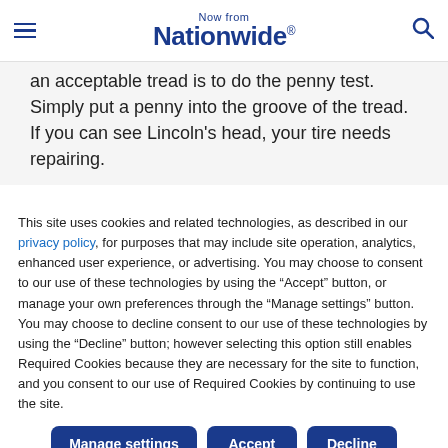Now from Nationwide®
an acceptable tread is to do the penny test. Simply put a penny into the groove of the tread. If you can see Lincoln's head, your tire needs repairing.
This site uses cookies and related technologies, as described in our privacy policy, for purposes that may include site operation, analytics, enhanced user experience, or advertising. You may choose to consent to our use of these technologies by using the "Accept" button, or manage your own preferences through the "Manage settings" button. You may choose to decline consent to our use of these technologies by using the "Decline" button; however selecting this option still enables Required Cookies because they are necessary for the site to function, and you consent to our use of Required Cookies by continuing to use the site.